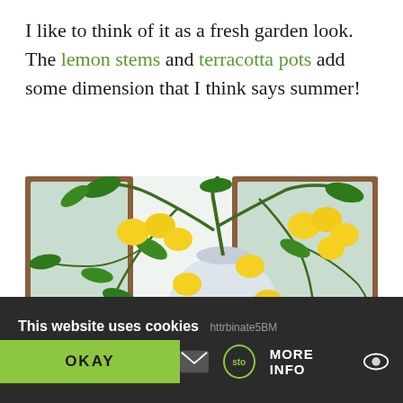I like to think of it as a fresh garden look. The lemon stems and terracotta pots add some dimension that I think says summer!
[Figure (photo): Photo of lemon stems with yellow lemons in a blue-and-white decorative ceramic vase, arranged on a wooden shelf with terracotta pots and a basket, in front of a wooden-framed mirror against white tile background.]
This website uses cookies